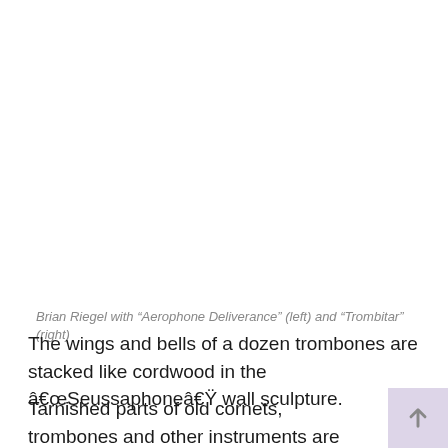Brian Riegel with “Aerophone Deliverance” (left) and “Trombitar” (right)
The wings and bells of a dozen trombones are stacked like cordwood in the â€œSeussaphoneâ€� wall sculpture.
Tarnished parts of old cornets, trombones and other instruments are built on an old Royal typewriter in “Royal Office Piano”.